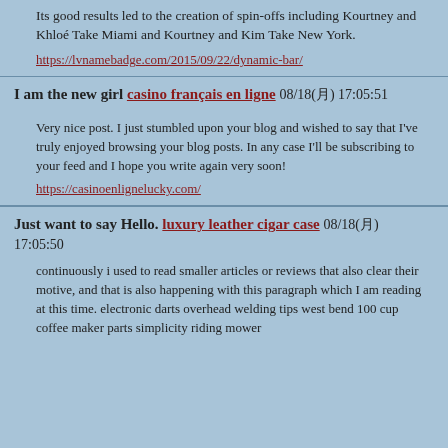Its good results led to the creation of spin-offs including Kourtney and Khloé Take Miami and Kourtney and Kim Take New York.
https://lvnamebadge.com/2015/09/22/dynamic-bar/
I am the new girl casino français en ligne 08/18(月) 17:05:51
Very nice post. I just stumbled upon your blog and wished to say that I've truly enjoyed browsing your blog posts. In any case I'll be subscribing to your feed and I hope you write again very soon!
https://casinoenlignelucky.com/
Just want to say Hello. luxury leather cigar case 08/18(月) 17:05:50
continuously i used to read smaller articles or reviews that also clear their motive, and that is also happening with this paragraph which I am reading at this time. electronic darts overhead welding tips west bend 100 cup coffee maker parts simplicity riding mower